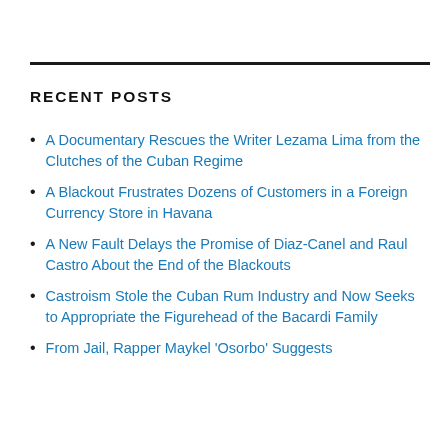RECENT POSTS
A Documentary Rescues the Writer Lezama Lima from the Clutches of the Cuban Regime
A Blackout Frustrates Dozens of Customers in a Foreign Currency Store in Havana
A New Fault Delays the Promise of Diaz-Canel and Raul Castro About the End of the Blackouts
Castroism Stole the Cuban Rum Industry and Now Seeks to Appropriate the Figurehead of the Bacardi Family
From Jail, Rapper Maykel 'Osorbo' Suggests